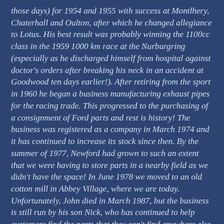those days) for 1954 and 1955 with success at Montlhery, Chaterhall and Oulton, after which he changed allegiance to Lotus. His best result was probably winning the 1100cc class in the 1959 1000 km race at the Nurburgring (especially as he discharged himself from hospital against doctor's orders after breaking his neck in an accident at Goodwood ten days earlier!). After retiring from the sport in 1960 he began a business manufacturing exhaust pipes for the racing trade. This progressed to the purchasing of a consignment of Ford parts and rest is history! The business was registered as a company in March 1974 and it has continued to increase its stock since then. By the summer of 1977, Newford had grown to such an extent that we were having to store parts in a nearby field as we didn't have the space! In June 1978 we moved to an old cotton mill in Abbey Village, where we are today. Unfortunately, John died in March 1987, but the business is still run by his son Nick, who has continued to help customers find the parts that they can't find anywhere else. We now, currently, have over 10,000 square feet of new parts on the shelf and we are now starting to get to the stage